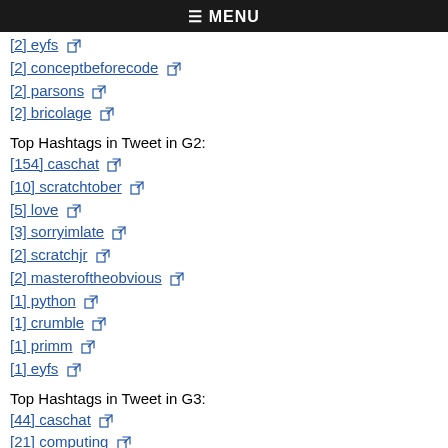≡ MENU
[2] eyfs
[2] conceptbeforecode
[2] parsons
[2] bricolage
Top Hashtags in Tweet in G2:
[154] caschat
[10] scratchtober
[5] love
[3] sorryimlate
[2] scratchjr
[2] masteroftheobvious
[1] python
[1] crumble
[1] primm
[1] eyfs
Top Hashtags in Tweet in G3:
[44] caschat
[21] computing
[17] bhm
[17] blackhistorymonth
[17] csed
[8] csforall
[5] computerscience